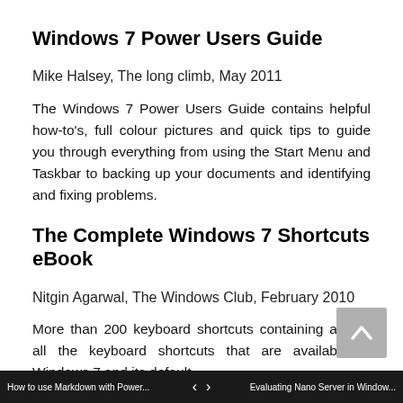Windows 7 Power Users Guide
Mike Halsey, The long climb, May 2011
The Windows 7 Power Users Guide contains helpful how-to's, full colour pictures and quick tips to guide you through everything from using the Start Menu and Taskbar to backing up your documents and identifying and fixing problems.
The Complete Windows 7 Shortcuts eBook
Nitgin Agarwal, The Windows Club, February 2010
More than 200 keyboard shortcuts containing almost all the keyboard shortcuts that are available in Windows 7 and its default
How to use Markdown with Power...   <   >   Evaluating Nano Server in Window...